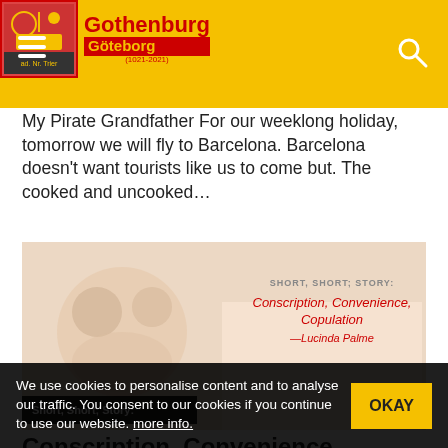Gothenburg Göteborg
My Pirate Grandfather For our weeklong holiday, tomorrow we will fly to Barcelona. Barcelona doesn't want tourists like us to come but. The cooked and uncooked…
[Figure (illustration): Illustrated image with cartoon characters and overlay text: SHORT, SHORT; STORY: Conscription, Convenience, Copulation —Lucinda Palme]
Short, Short; Story:
Conscription, Convenience, Copulation
We use cookies to personalise content and to analyse our traffic. You consent to our cookies if you continue to use our website. more info.